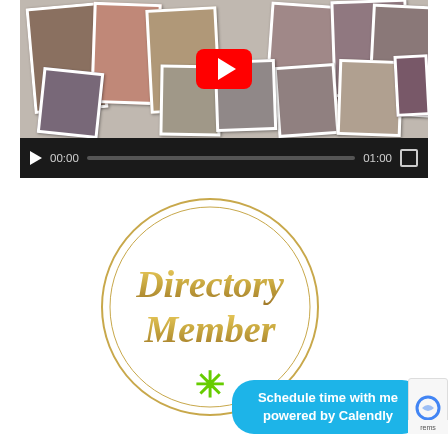[Figure (screenshot): Video player showing a collage of before-and-after weight loss photos with a YouTube play button overlay and video controls showing 00:00 / 01:00]
[Figure (logo): Directory Member badge: gold script text 'Directory Member' inside two concentric gold circles with a green asterisk below]
Schedule time with me powered by Calendly